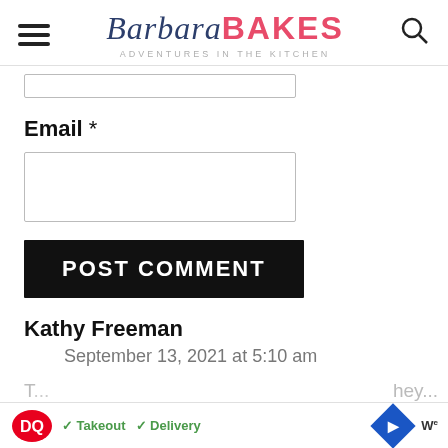Barbara BAKES — Adventures in the Kitchen
Email *
POST COMMENT
Kathy Freeman
September 13, 2021 at 5:10 am
[Figure (screenshot): Dairy Queen advertisement banner with DQ logo, checkmarks for Takeout and Delivery, navigation arrow icon, and Waze icon]
T... hey...